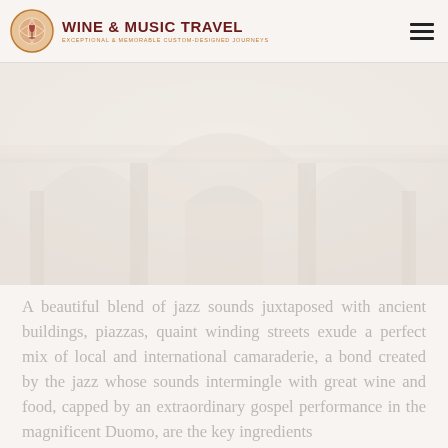WINE & MUSIC TRAVEL — EXCEPTIONAL & MEMORABLE CUSTOM-DESIGNED JOURNEYS
[Figure (photo): Faded/washed-out photo of an ornate interior architectural space with arches and columns, possibly a cathedral or historic building, rendered in very pale pinkish tones.]
A beautiful blend of jazz sounds juxtaposed with ancient buildings, piazzas, quaint winding streets exude a perfect mix of local and international camaraderie, a bond created by the jazz whose sounds intermingle with great wine and food, capped by an extraordinary gospel performance in the magnificent Duomo, are the key ingredients